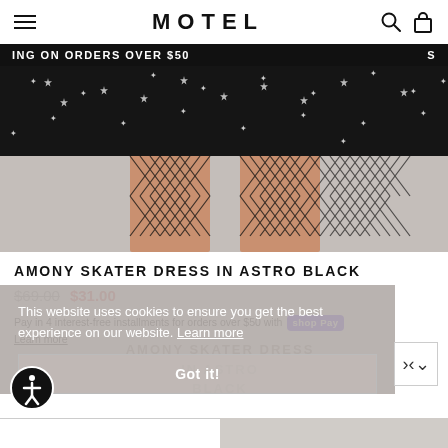MOTEL
ING ON ORDERS OVER $50
[Figure (photo): Close-up photo of a model wearing the Amony Skater Dress in Astro Black with star print, shown from the waist down, with black fishnet stockings, against a light gray background.]
AMONY SKATER DRESS IN ASTRO BLACK
$69.00 $31.00
Pay in 4 interest-free installments for orders over $50 with shop Pay Learn more
This website uses cookies to ensure you get the best experience on our website. Learn more
Got it!